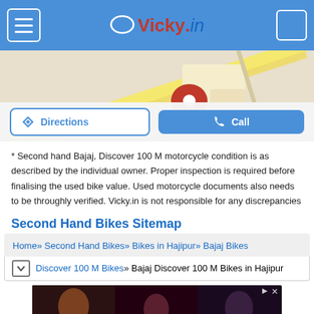vicky.in
[Figure (map): Google Maps partial view showing a location pin (red) over a local area map with roads and yellow highway.]
Directions | Call
* Second hand Bajaj, Discover 100 M motorcycle condition is as described by the individual owner. Proper inspection is required before finalising the used bike value. Used motorcycle documents also needs to be throughly verified. Vicky.in is not responsible for any discrepancies
Second Hand Bikes Sitemap
Home » Second Hand Bikes » Bikes in Hajipur » Bajaj Bikes
Discover 100 M Bikes » Bajaj Discover 100 M Bikes in Hajipur
[Figure (photo): Advertisement banner for FIT X HOT TOPIC showing three people in dark clothing with a SHOP NOW button.]